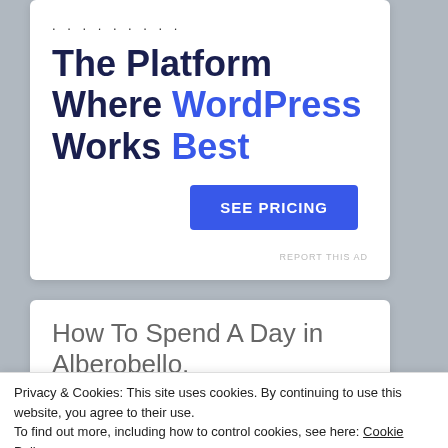[Figure (screenshot): Advertisement card with dots decoration, headline 'The Platform Where WordPress Works Best', and a 'SEE PRICING' button]
The Platform Where WordPress Works Best
SEE PRICING
REPORT THIS AD
How To Spend A Day in Alberobello, Puglia: Trulli, Slow Italian Food
Privacy & Cookies: This site uses cookies. By continuing to use this website, you agree to their use.
To find out more, including how to control cookies, see here: Cookie Policy
Close and accept